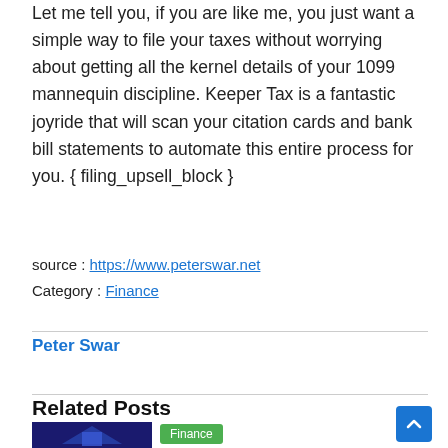Let me tell you, if you are like me, you just want a simple way to file your taxes without worrying about getting all the kernel details of your 1099 mannequin discipline. Keeper Tax is a fantastic joyride that will scan your citation cards and bank bill statements to automate this entire process for you. { filing_upsell_block }
source : https://www.peterswar.net
Category : Finance
Peter Swar
Related Posts
[Figure (photo): Thumbnail image with dark purple/blue background]
Finance